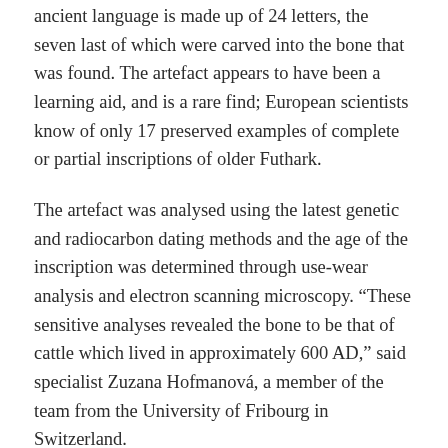ancient language is made up of 24 letters, the seven last of which were carved into the bone that was found. The artefact appears to have been a learning aid, and is a rare find; European scientists know of only 17 preserved examples of complete or partial inscriptions of older Futhark.
The artefact was analysed using the latest genetic and radiocarbon dating methods and the age of the inscription was determined through use-wear analysis and electron scanning microscopy. “These sensitive analyses revealed the bone to be that of cattle which lived in approximately 600 AD,” said specialist Zuzana Hofmanová, a member of the team from the University of Fribourg in Switzerland.
The oldest writing system used by Slavs was believed to be the Glagolitic script, introduced to Moravia during the